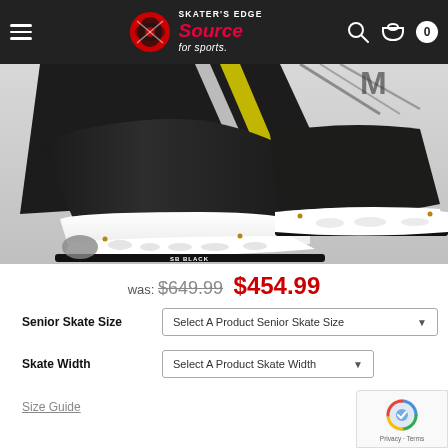Skater's Edge Source for Sports — navigation bar with hamburger menu, logo, search, bag and cart icons
[Figure (photo): Close-up photograph of ice hockey skates (white and black) showing the boot, blade holders and blades. Brand markings visible. 'SB BLACK' text visible on blade holder.]
was: $649.99 $454.99
Senior Skate Size  Select A Product Senior Skate Size
Skate Width  Select A Product Skate Width
Size Guide